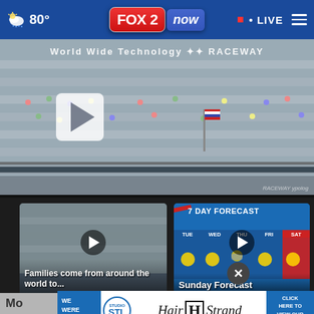80° FOX 2 now • LIVE
[Figure (screenshot): NASCAR race at World Wide Technology Raceway, stadium bleachers with crowd, main video player with play button]
[Figure (screenshot): Video card: Families come from around the world to... - 7 hours ago]
[Figure (screenshot): Video card: Sunday Forecast - 7 day weather forecast graphic - 8 hours ago]
[Figure (screenshot): Video card: Metro return... (partially visible)]
[Figure (infographic): Advertisement banner: Studio STL - Hair Strand salon - Click here to view our segment]
Mo...